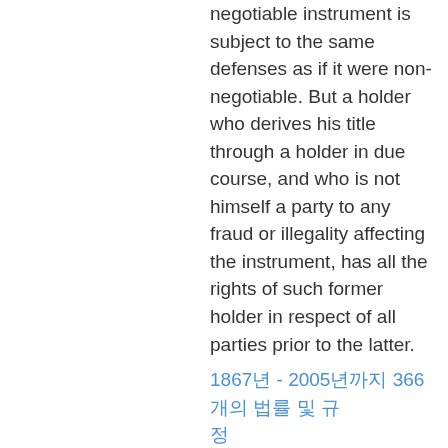negotiable instrument is subject to the same defenses as if it were non-negotiable. But a holder who derives his title through a holder in due course, and who is not himself a party to any fraud or illegality affecting the instrument, has all the rights of such former holder in respect of all parties prior to the latter.
1867년 - 2005년까지 366개의 법률 및 규정
3909 내륙환어음 - An inland bill of exchange is a bill which is, or on its face purports to be, both drawn and payable within this state. Any